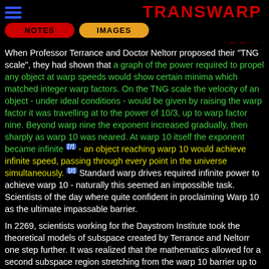TRANSWARP
NOTES | IMAGES
When Professor Terrance and Doctor Neltorr proposed their "TNG scale", they had shown that a graph of the power required to propel any object at warp speeds would show certain minima which matched integer warp factors. On the TNG scale the velocity of an object - under ideal conditions - would be given by raising the warp factor it was travelling at to the power of 10/3, up to warp factor nine. Beyond warp nine the exponent increased gradually, then sharply as warp 10 was neared. At warp 10 itself the exponent became infinite [7] - an object reaching warp 10 would achieve infinite speed, passing through every point in the universe simultaneously. [2] Standard warp drives required infinite power to achieve warp 10 - naturally this seemed an impossible task. Scientists of the day where quite confident in proclaiming Warp 10 as the ultimate impassable barrier.
In 2269, scientists working for the Daystrom Institute took the theoretical models of subspace created by Terrance and Neltorr one step further. It was realized that the mathematics allowed for a second subspace region stretching from the warp 10 barrier up to another, similar barrier at warp 20 - a region which a public relations officer in the Daystrom Institute press office dubbed the